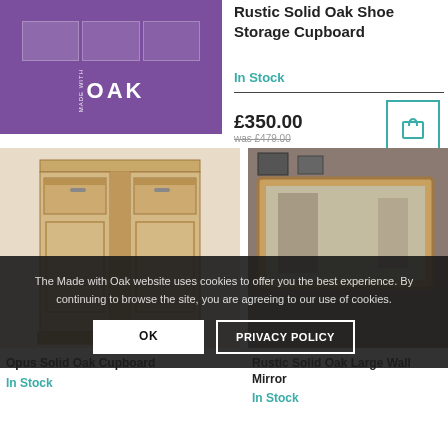[Figure (photo): Purple background with oak texture grid and MADE WITH OAK logo]
Rustic Solid Oak Shoe Storage Cupboard
In Stock
£350.00 was £479.00
[Figure (photo): Opus Solid Oak Cupboard - tall wooden wardrobe with two doors]
[Figure (photo): Rustic Solid Oak Large Wall Mirror in a room setting]
Opus Solid Oak Cupboard
In Stock
Rustic Solid Oak Large Wall Mirror
In Stock
The Made with Oak website uses cookies to offer you the best experience. By continuing to browse the site, you are agreeing to our use of cookies.
OK
PRIVACY POLICY